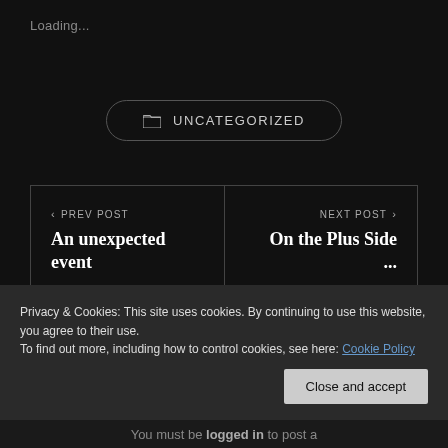Loading...
UNCATEGORIZED
< PREV POST
An unexpected event
NEXT POST >
On the Plus Side ...
Privacy & Cookies: This site uses cookies. By continuing to use this website, you agree to their use.
To find out more, including how to control cookies, see here: Cookie Policy
Close and accept
You must be logged in to post a